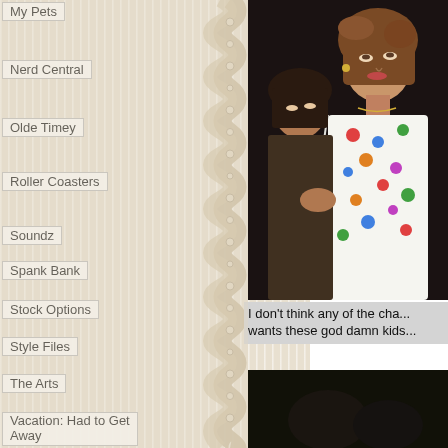My Pets
Nerd Central
Olde Timey
Roller Coasters
Soundz
Spank Bank
Stock Options
Style Files
The Arts
Vacation: Had to Get Away
What I Saw Today
Winos
Yearbook Club
[Figure (photo): Two women from what appears to be a 1980s film or TV show, one in a polka dot top looking at the camera]
I don't think any of the cha... wants these god damn kids...
[Figure (photo): Dark image, mostly black background]